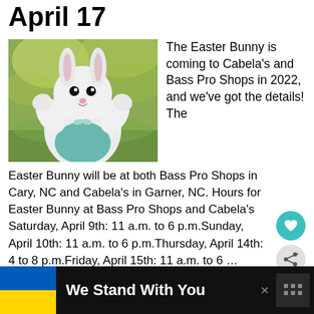April 17
[Figure (photo): Easter Bunny costume character in a green outdoor setting, wearing a teal vest, waving at camera]
The Easter Bunny is coming to Cabela's and Bass Pro Shops in 2022, and we've got the details! The Easter Bunny will be at both Bass Pro Shops in Cary, NC and Cabela's in Garner, NC. Hours for Easter Bunny at Bass Pro Shops and Cabela's Saturday, April 9th: 11 a.m. to 6 p.m.Sunday, April 10th: 11 a.m. to 6 p.m.Thursday, April 14th: 4 to 8 p.m.Friday, April 15th: 11 a.m. to 6 … [Read more...]
We Stand With You